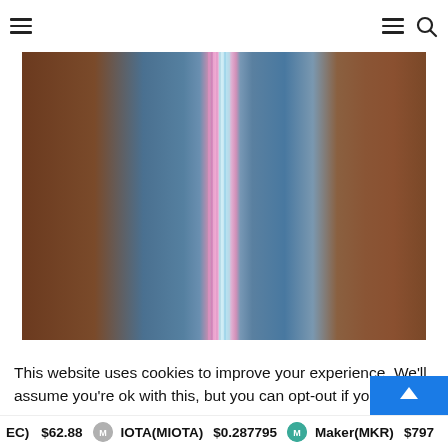Navigation header with hamburger menus and search icon
[Figure (photo): Abstract colorful vertical stripes image with brown, blue, pink, and light blue/cyan colors blending together in a smooth gradient-like pattern]
This website uses cookies to improve your experience. We'll assume you're ok with this, but you can opt-out if you w
EC) $62.88  IOTA(MIOTA) $0.287795  Maker(MKR) $797